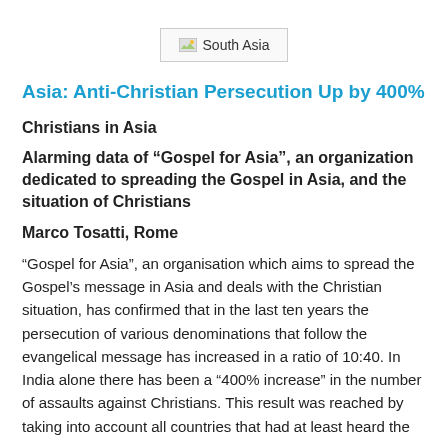[Figure (other): South Asia image placeholder with broken image icon]
Asia: Anti-Christian Persecution Up by 400%
Christians in Asia
Alarming data of “Gospel for Asia”, an organization dedicated to spreading the Gospel in Asia, and the situation of Christians
Marco Tosatti, Rome
“Gospel for Asia”, an organisation which aims to spread the Gospel’s message in Asia and deals with the Christian situation, has confirmed that in the last ten years the persecution of various denominations that follow the evangelical message has increased in a ratio of 10:40. In India alone there has been a “400% increase” in the number of assaults against Christians. This result was reached by taking into account all countries that had at least heard the